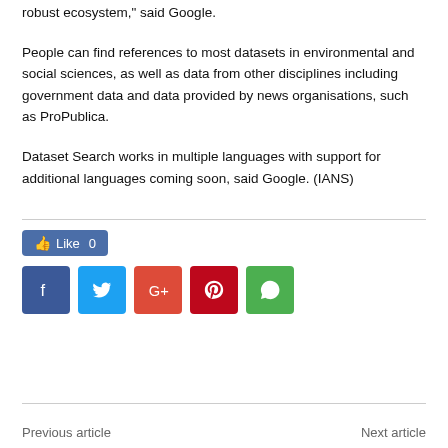robust ecosystem," said Google.
People can find references to most datasets in environmental and social sciences, as well as data from other disciplines including government data and data provided by news organisations, such as ProPublica.
Dataset Search works in multiple languages with support for additional languages coming soon, said Google. (IANS)
[Figure (infographic): Like button (0 likes) and social media share icons: Facebook, Twitter, Google+, Pinterest, WhatsApp]
Previous article    Next article